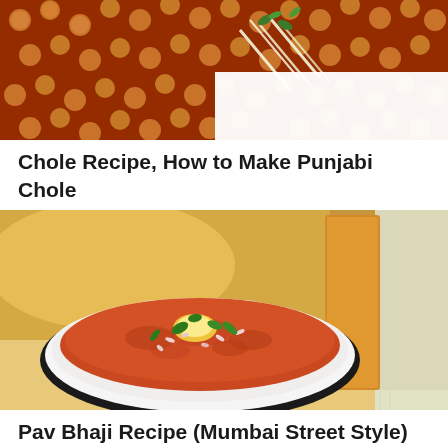[Figure (photo): Top-down view of Punjabi Chole (spiced chickpea curry) garnished with ginger julienne and coriander leaves in a dark colored dish]
Chole Recipe, How to Make Punjabi Chole
[Figure (photo): Pav Bhaji served in a white bowl with black rim, topped with butter, chopped onions and coriander leaves, with buttered pav bread visible in the background]
Pav Bhaji Recipe (Mumbai Street Style)